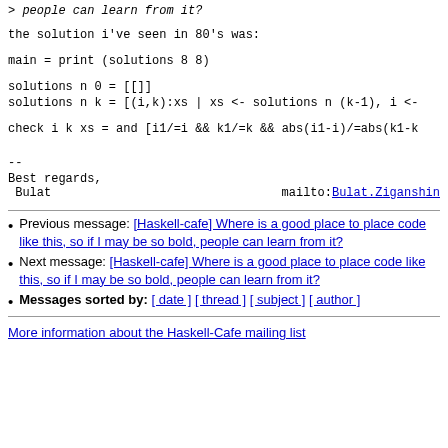> people can learn from it?
the solution i've seen in 80's was:
main = print (solutions 8 8)
solutions n 0 = [[]]
solutions n k = [(i,k):xs | xs <- solutions n (k-1), i <-
check i k xs = and [i1/=i && k1/=k && abs(i1-i)/=abs(k1-k
--
Best regards,
 Bulat                         mailto:Bulat.Ziganshin
Previous message: [Haskell-cafe] Where is a good place to place code like this, so if I may be so bold, people can learn from it?
Next message: [Haskell-cafe] Where is a good place to place code like this, so if I may be so bold, people can learn from it?
Messages sorted by: [ date ] [ thread ] [ subject ] [ author ]
More information about the Haskell-Cafe mailing list